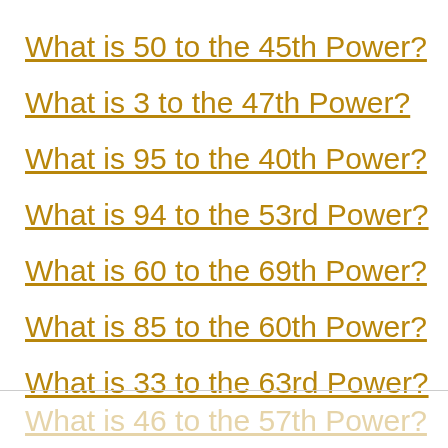What is 50 to the 45th Power?
What is 3 to the 47th Power?
What is 95 to the 40th Power?
What is 94 to the 53rd Power?
What is 60 to the 69th Power?
What is 85 to the 60th Power?
What is 33 to the 63rd Power?
What is 46 to the 57th Power?